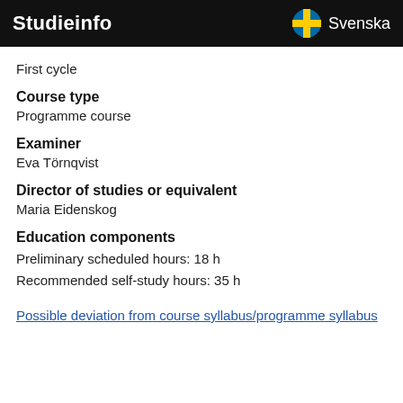Studieinfo | Svenska
First cycle
Course type
Programme course
Examiner
Eva Törnqvist
Director of studies or equivalent
Maria Eidenskog
Education components
Preliminary scheduled hours: 18 h
Recommended self-study hours: 35 h
Possible deviation from course syllabus/programme syllabus